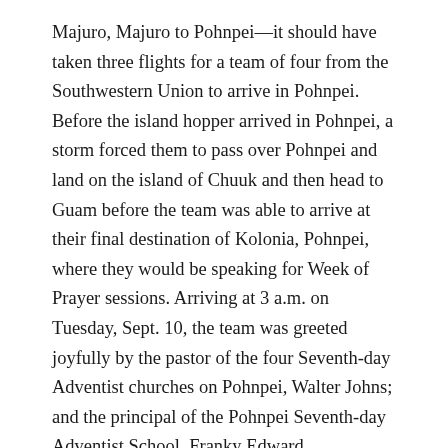Majuro, Majuro to Pohnpei—it should have taken three flights for a team of four from the Southwestern Union to arrive in Pohnpei. Before the island hopper arrived in Pohnpei, a storm forced them to pass over Pohnpei and land on the island of Chuuk and then head to Guam before the team was able to arrive at their final destination of Kolonia, Pohnpei, where they would be speaking for Week of Prayer sessions. Arriving at 3 a.m. on Tuesday, Sept. 10, the team was greeted joyfully by the pastor of the four Seventh-day Adventist churches on Pohnpei, Walter Johns; and the principal of the Pohnpei Seventh-day Adventist School, Franky Edward.
The team consisted of Sonia Canó, Southwestern Union children's ministries and Sabbath School director; Kathy Clifford, Texico Conference